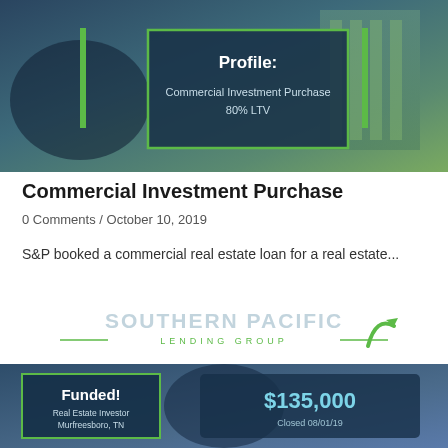[Figure (photo): Background image of commercial property / business people with overlay panel showing Profile: Commercial Investment Purchase 80% LTV]
Commercial Investment Purchase
0 Comments / October 10, 2019
S&P booked a commercial real estate loan for a real estate...
[Figure (logo): Southern Pacific Lending Group logo with stylized text and green arrow]
[Figure (photo): Bottom card showing Funded! Real Estate Investor Murfreesboro, TN with $135,000 Closed 08/01/19]